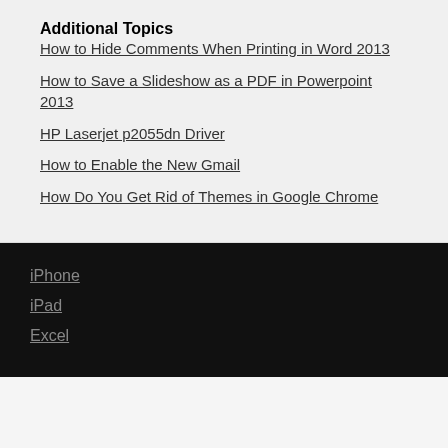Additional Topics
How to Hide Comments When Printing in Word 2013
How to Save a Slideshow as a PDF in Powerpoint 2013
HP Laserjet p2055dn Driver
How to Enable the New Gmail
How Do You Get Rid of Themes in Google Chrome
iPhone
iPad
Excel